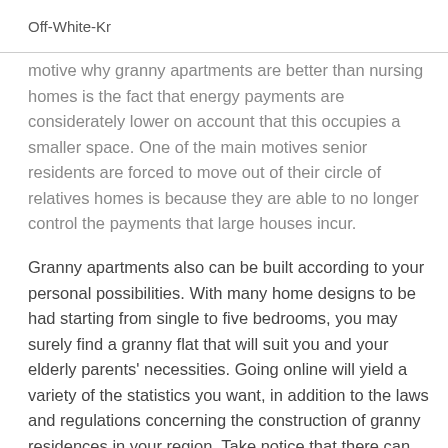Off-White-Kr
motive why granny apartments are better than nursing homes is the fact that energy payments are considerately lower on account that this occupies a smaller space. One of the main motives senior residents are forced to move out of their circle of relatives homes is because they are able to no longer control the payments that large houses incur.
Granny apartments also can be built according to your personal possibilities. With many home designs to be had starting from single to five bedrooms, you may surely find a granny flat that will suit you and your elderly parents' necessities. Going online will yield a variety of the statistics you want, in addition to the laws and regulations concerning the construction of granny residences in your region. Take notice that there can be a few council areas that limit construction due to zoning laws so again, the